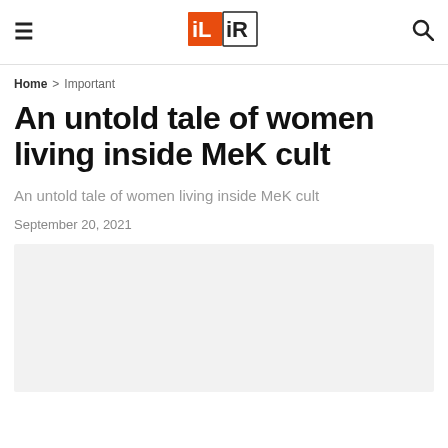≡ [Logo] 🔍
Home > Important
An untold tale of women living inside MeK cult
An untold tale of women living inside MeK cult
September 20, 2021
[Figure (photo): Article featured image placeholder (light gray background)]